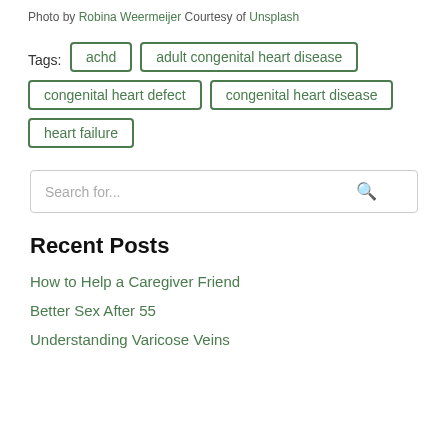Photo by Robina Weermeijer Courtesy of Unsplash
achd
adult congenital heart disease
congenital heart defect
congenital heart disease
heart failure
Search for...
Recent Posts
How to Help a Caregiver Friend
Better Sex After 55
Understanding Varicose Veins